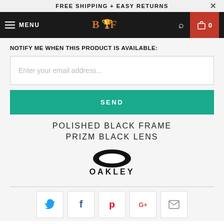FREE SHIPPING + EASY RETURNS
[Figure (screenshot): Navigation bar with hamburger menu, MENU text, BF logo, search icon, and cart with 0 items]
NOTIFY ME WHEN THIS PRODUCT IS AVAILABLE:
[Figure (screenshot): Email address input field with placeholder text 'Enter your email address...']
SEND
POLISHED BLACK FRAME
PRIZM BLACK LENS
[Figure (logo): Oakley brand logo with O ellipse mark and OAKLEY wordmark]
[Figure (infographic): Social share buttons: Twitter, Facebook, Pinterest, Google+, Email]